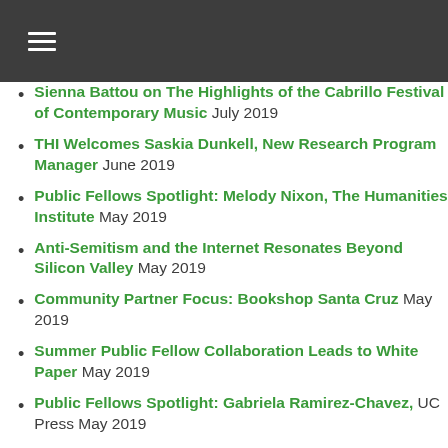[Figure (other): Dark gray header bar with hamburger menu icon (three white horizontal lines)]
Sienna Battou on The Highlights of the Cabrillo Festival of Contemporary Music July 2019
THI Welcomes Saskia Dunkell, New Research Program Manager June 2019
Public Fellows Spotlight: Melody Nixon, The Humanities Institute May 2019
Anti-Semitism and the Internet Resonates Beyond Silicon Valley May 2019
Community Partner Focus: Bookshop Santa Cruz May 2019
Summer Public Fellow Collaboration Leads to White Paper May 2019
Public Fellows Spotlight: Gabriela Ramirez-Chavez, UC Press May 2019
Announcing Top New THI Public Fellows May (partial)